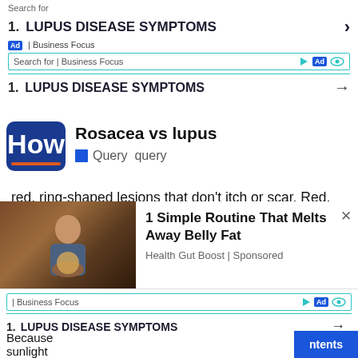Search for
1. LUPUS DISEASE SYMPTOMS
Ad | Business Focus
Search for | Business Focus
1. LUPUS DISEASE SYMPTOMS
Rosacea vs lupus
Query  query
red, ring-shaped lesions that don't itch or scar. Red, scaly, wedge-shaped formations appear on the scalp and face. Skin rash between the knuckles.
[Figure (photo): Person holding a bowl of food, used in an advertisement for Health Gut Boost]
1 Simple Routine That Melts Away Belly Fat
Health Gut Boost | Sponsored
| Business Focus
1. LUPUS DISEASE SYMPTOMS
Because sunlight
ntents